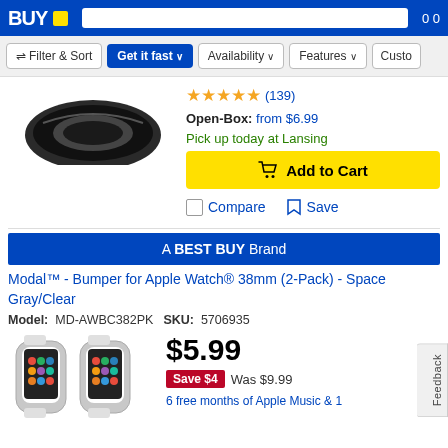Best Buy - Filter & Sort, Get it fast, Availability, Features, Custo...
[Figure (photo): Best Buy bumper product image (black bumper accessory for Apple Watch)]
★★★★★ (139)
Open-Box: from $6.99
Pick up today at Lansing
Add to Cart
Compare  Save
A BEST BUY Brand
Modal™ - Bumper for Apple Watch® 38mm (2-Pack) - Space Gray/Clear
Model: MD-AWBC382PK  SKU: 5706935
[Figure (photo): Modal bumper for Apple Watch product image, two Apple Watches with bumper cases]
$5.99
Save $4  Was $9.99
6 free months of Apple Music & 1